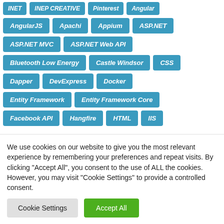AngularJS, Apachi, Appium, ASP.NET, ASP.NET MVC, ASP.NET Web API, Bluetooth Low Energy, Castle Windsor, CSS, Dapper, DevExpress, Docker, Entity Framework, Entity Framework Core, Facebook API, Hangfire, HTML, IIS
We use cookies on our website to give you the most relevant experience by remembering your preferences and repeat visits. By clicking "Accept All", you consent to the use of ALL the cookies. However, you may visit "Cookie Settings" to provide a controlled consent.
Cookie Settings | Accept All